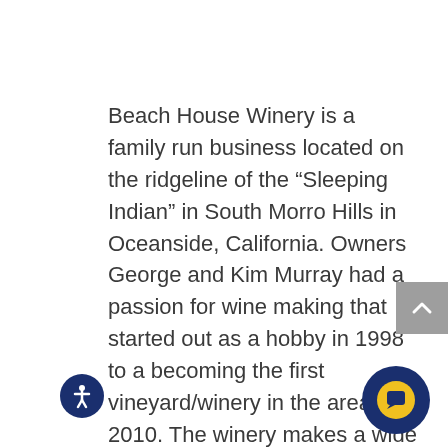Beach House Winery is a family run business located on the ridgeline of the “Sleeping Indian” in South Morro Hills in Oceanside, California. Owners George and Kim Murray had a passion for wine making that started out as a hobby in 1998 to a becoming the first vineyard/winery in the area in 2010. The winery makes a wide range of wines with varietals including Zinfandel, Barbera, Melange, Merlot, Petite Sirah, Montepulciano, Cab Franc and others. Their beach house is located just blocks from one of Oceanside’s best beaches and offers panoramic views of the Pacific Ocean and North County. Wine tastings are